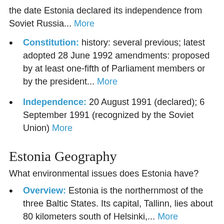the date Estonia declared its independence from Soviet Russia... More
Constitution: history: several previous; latest adopted 28 June 1992 amendments: proposed by at least one-fifth of Parliament members or by the president... More
Independence: 20 August 1991 (declared); 6 September 1991 (recognized by the Soviet Union) More
Estonia Geography
What environmental issues does Estonia have?
Overview: Estonia is the northernmost of the three Baltic States. Its capital, Tallinn, lies about 80 kilometers south of Helsinki,... More
Climate: The climate is northern continental,